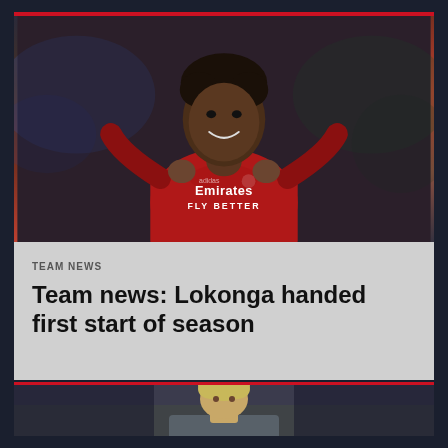[Figure (photo): Arsenal footballer in red Emirates FLY BETTER jersey, smiling and celebrating, holding shirt collar, crowd in background]
TEAM NEWS
Team news: Lokonga handed first start of season
[Figure (photo): Blond footballer partial view, bottom card preview]